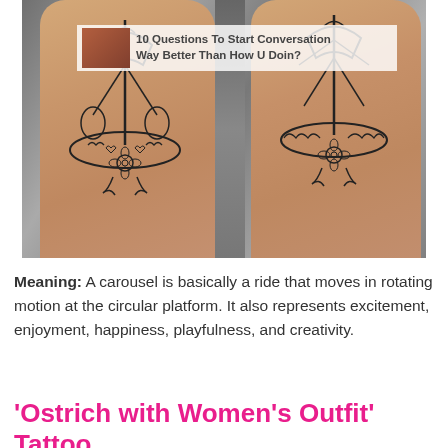[Figure (photo): Photo of two legs with carousel tattoo outlines drawn in black ink. An overlay banner at top shows a small thumbnail image of people and text reading '10 Questions To Start Conversation Way Better Than How U Doin?']
Meaning: A carousel is basically a ride that moves in rotating motion at the circular platform. It also represents excitement, enjoyment, happiness, playfulness, and creativity.
'Ostrich with Women's Outfit' Tattoo